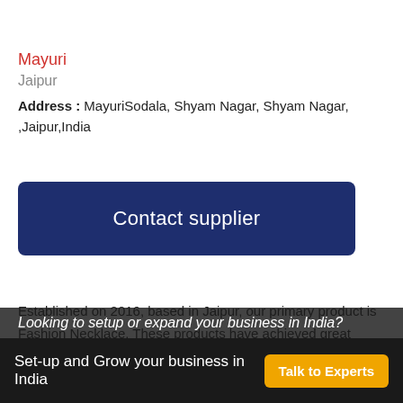Mayuri
Jaipur
Address : MayuriSodala, Shyam Nagar, Shyam Nagar, ,Jaipur,India
Contact supplier
Established on 2016, based in Jaipur, our primary product is Fashion Necklace. These products have achieved great appreciation in the market for their longer functional life, low maintenance and durability. Moreover, due to our enhanced quality, swift delivery and affordable price, we have
Set-up and Grow your business in India  Talk to Experts